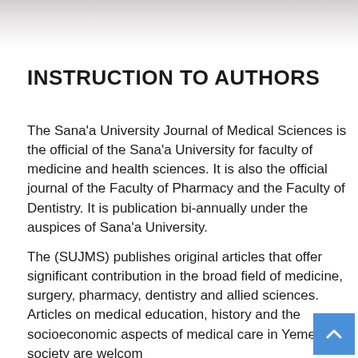INSTRUCTION TO AUTHORS
The Sana'a University Journal of Medical Sciences is the official of the Sana'a University for faculty of medicine and health sciences. It is also the official journal of the Faculty of Pharmacy and the Faculty of Dentistry. It is publication bi-annually under the auspices of Sana'a University.
The (SUJMS) publishes original articles that offer significant contribution in the broad field of medicine, surgery, pharmacy, dentistry and allied sciences. Articles on medical education, history and the socioeconomic aspects of medical care in Yemeni society are welcome